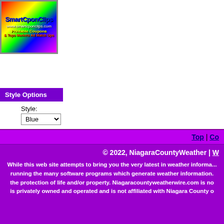[Figure (logo): SmartCouponClips colorful logo with rainbow background, text: SmartCouponClips, www.smartcponclips.com, Printable Coupons, & Tops Markets Ad Match Ups]
Style Options
Style: Blue [dropdown] Widescreen: On (radio) | Off (radio selected) [Set button]
Top | Co... © 2022, NiagaraCountyWeather | W... While this web site attempts to bring you the very latest in weather informa... running the many software programs which generate weather information. ... the protection of life and/or property. Niagaracountyweatherwire.com is no... is privately owned and operated and is not affiliated with Niagara County o...